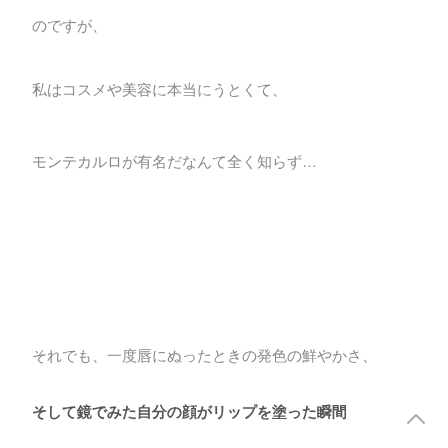のですが、
私はコスメや美容に本当にうとくて、
モンテカルロが有名だなんて全く知らず…
それでも、一度唇にぬったときの発色の鮮やかさ、
そして鏡でみた自分の顔がリップを塗った瞬間